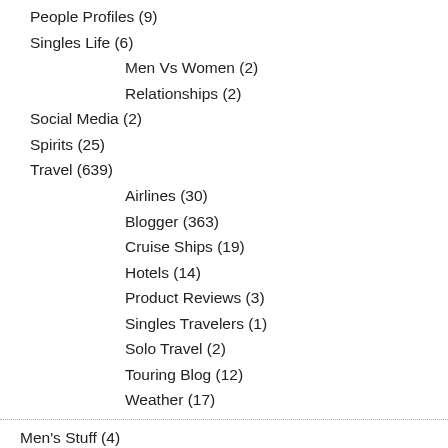People Profiles (9)
Singles Life (6)
Men Vs Women (2)
Relationships (2)
Social Media (2)
Spirits (25)
Travel (639)
Airlines (30)
Blogger (363)
Cruise Ships (19)
Hotels (14)
Product Reviews (3)
Singles Travelers (1)
Solo Travel (2)
Touring Blog (12)
Weather (17)
Men's Stuff (4)